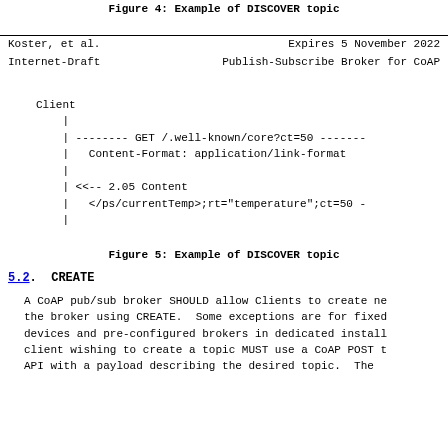Figure 4: Example of DISCOVER topic
Koster, et al.                    Expires 5 November 2022
Internet-Draft       Publish-Subscribe Broker for CoAP
[Figure (schematic): Sequence diagram showing Client sending GET /.well-known/core?ct=50 with Content-Format: application/link-format, and receiving 2.05 Content response with </ps/currentTemp>;rt="temperature";ct=50]
Figure 5: Example of DISCOVER topic
5.2. CREATE
A CoAP pub/sub broker SHOULD allow Clients to create new topics at the broker using CREATE. Some exceptions are for fixed-function devices and pre-configured brokers in dedicated installations. A client wishing to create a topic MUST use a CoAP POST to the broker API with a payload describing the desired topic. The